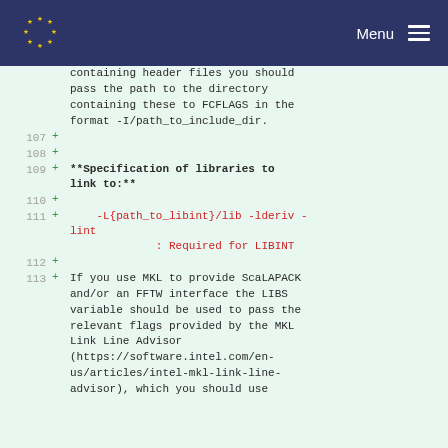Menu
containing header files you should pass the path to the directory containing these to FCFLAGS in the format -I/path_to_include_dir.
107  +
108  +
109  + **Specification of libraries to link to:**
110  +
111  +     -L{path_to_libint}/lib -lderiv -lint
             : Required for LIBINT
112  +
113  + If you use MKL to provide ScaLAPACK and/or an FFTW interface the LIBS variable should be used to pass the relevant flags provided by the MKL Link Line Advisor (https://software.intel.com/en-us/articles/intel-mkl-link-line-advisor), which you should use